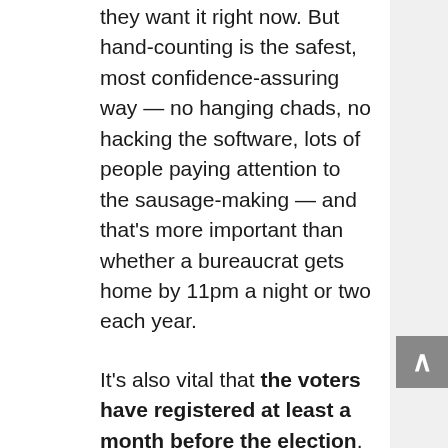they want it right now. But hand-counting is the safest, most confidence-assuring way — no hanging chads, no hacking the software, lots of people paying attention to the sausage-making — and that's more important than whether a bureaucrat gets home by 11pm a night or two each year.
It's also vital that the voters have registered at least a month before the election. If they don't, there's simply no time for anyone to check whether the person registering is who she says she is. Same-day registration is an invitation for widespread fraud.
Elections need to take place as entirely as possible on one day. Absentee ballots are a necessary evil, but early voting is not. The opportunity to cast more than one ballot is reduced dramatically if voting is confined to one day, especially since doing so allows everyone to hold it in their collective memory to